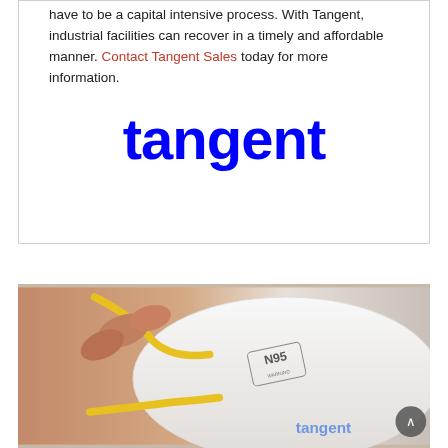have to be a capital intensive process. With Tangent, industrial facilities can recover in a timely and affordable manner. Contact Tangent Sales today for more information.
[Figure (logo): Tangent company logo in blue bold lowercase lettering]
[Figure (photo): A hand holding a white N95 respirator mask with yellow straps and WARNING label, with Tangent logo watermark in bottom right corner]